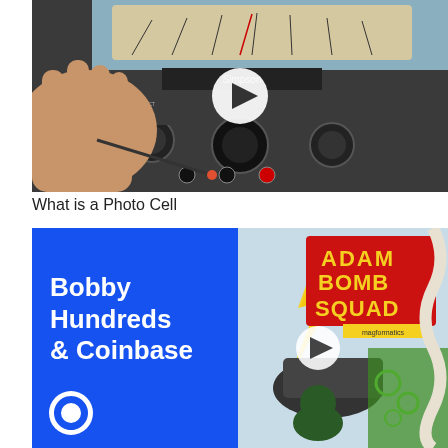[Figure (screenshot): Video thumbnail showing a hand holding a probe against a Simpson brand analog multimeter/VOM meter, with a white play button circle overlay in the center]
What is a Photo Cell
[Figure (screenshot): Two video thumbnails side by side: left is a blue card reading 'Bobby Hundreds & Coinbase' with a Coinbase logo at bottom; right is a colorful comic-style image reading 'Adam Bomb Squad' with play button overlay and comic characters]